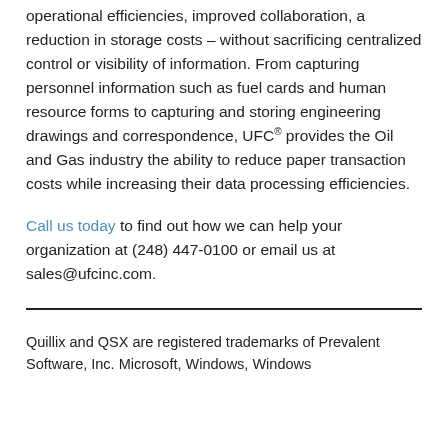operational efficiencies, improved collaboration, a reduction in storage costs – without sacrificing centralized control or visibility of information. From capturing personnel information such as fuel cards and human resource forms to capturing and storing engineering drawings and correspondence, UFC® provides the Oil and Gas industry the ability to reduce paper transaction costs while increasing their data processing efficiencies.
Call us today to find out how we can help your organization at (248) 447-0100 or email us at sales@ufcinc.com.
Quillix and QSX are registered trademarks of Prevalent Software, Inc. Microsoft, Windows, Windows